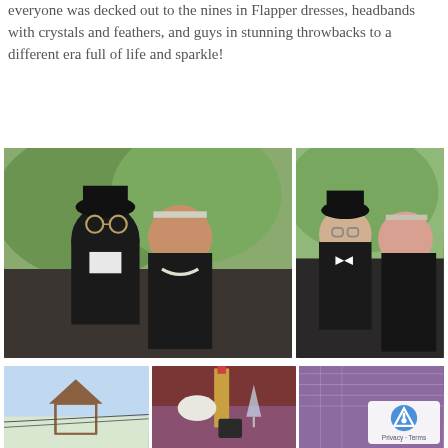everyone was decked out to the nines in Flapper dresses, headbands with crystals and feathers, and guys in stunning throwbacks to a different era full of life and sparkle!
[Figure (photo): Couple in 1920s Gatsby-style attire. Man in black tuxedo with bowler hat and round glasses; woman in black dress with crystal headband and pearl necklace, posing outdoors with trees in background.]
[Figure (photo): Young couple in 1920s Gatsby-style attire. Man in black vest with bow tie; woman in black beaded flapper dress with pearl necklace and crystal headband, posing outdoors.]
[Figure (photo): Outdoor venue with a gazebo under a bright sunny sky.]
[Figure (photo): Wedding reception table setting with wine bottle, champagne glass, white flowers, and purple tablecloth.]
[Figure (photo): Close-up of white lace fabric with purple decorative elements, with reCAPTCHA badge overlay showing Privacy and Terms links.]